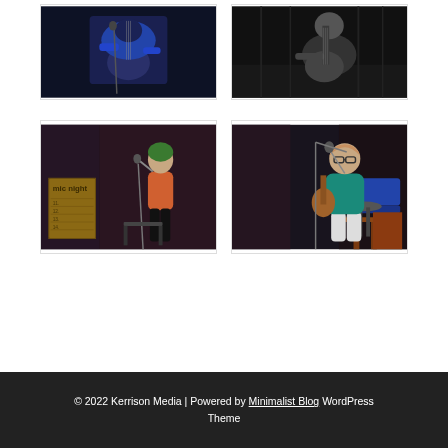[Figure (photo): Person playing guitar on stage, dark blue toned photo, shot from above]
[Figure (photo): Person playing acoustic guitar, black and white photo]
[Figure (photo): Singer on stage with microphone, pink/orange top, open mic night sign visible]
[Figure (photo): Woman playing ukulele seated on stool, teal top, glasses, indoor venue]
© 2022 Kerrison Media | Powered by Minimalist Blog WordPress Theme